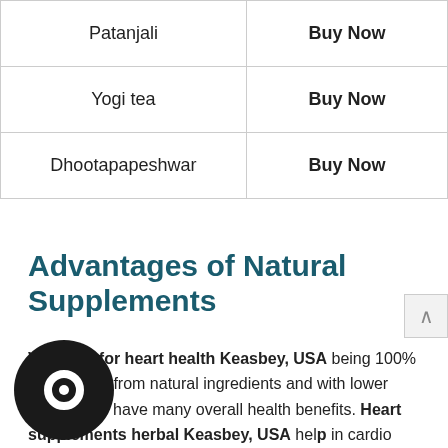| Brand | Action |
| --- | --- |
| Patanjali | Buy Now |
| Yogi tea | Buy Now |
| Dhootapapeshwar | Buy Now |
Advantages of Natural Supplements
Vitamins for heart health Keasbey, USA being 100% pure, made from natural ingredients and with lower side effects have many overall health benefits. Heart supplements herbal Keasbey, USA help in cardio disease protection and prevention. Listed here are some major benefits.